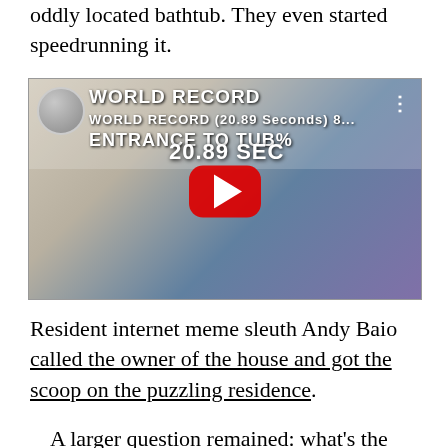oddly located bathtub. They even started speedrunning it.
[Figure (screenshot): YouTube video thumbnail showing a young man in a blue blazer with a black tie, gesturing with hands spread, standing in front of a bathtub. Video title reads 'WORLD RECORD (20.89 Seconds) 8... ENTRANCE TO TUB%' and '20.89 SEC' with a YouTube play button overlay.]
Resident internet meme sleuth Andy Baio called the owner of the house and got the scoop on the puzzling residence.
A larger question remained: what's the deal with